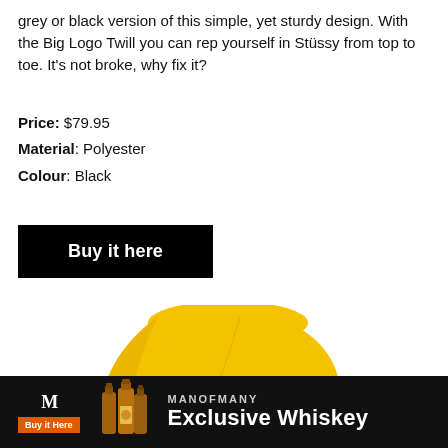grey or black version of this simple, yet sturdy design. With the Big Logo Twill you can rep yourself in Stüssy from top to toe. It's not broke, why fix it?
Price: $79.95
Material: Polyester
Colour: Black
Buy it here
[Figure (photo): Yellow Stüssy bucket hat shown from the front against a white background]
[Figure (infographic): MANOFMANY Exclusive Whiskey advertisement banner with logo, whiskey bottles, Buy It Here button, and product name text on black background]